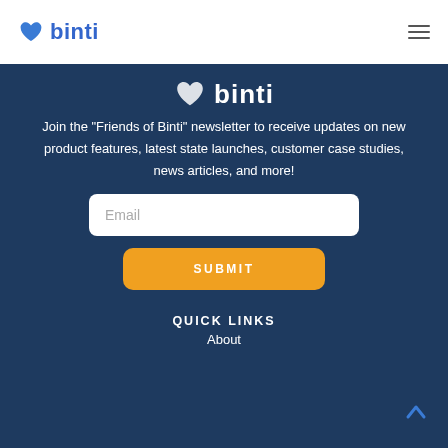binti [logo with heart icon and hamburger menu]
[Figure (logo): Binti logo with white heart icon and white 'binti' text on dark blue background]
Join the "Friends of Binti" newsletter to receive updates on new product features, latest state launches, customer case studies, news articles, and more!
Email
SUBMIT
QUICK LINKS
About